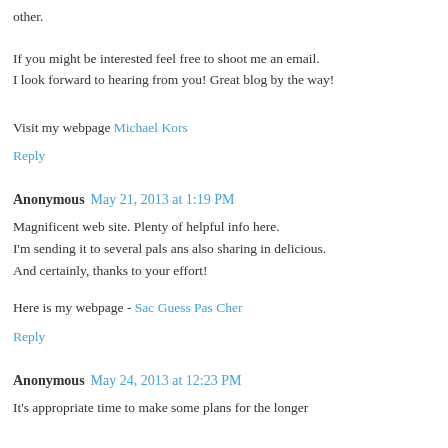other.
If you might be interested feel free to shoot me an email. I look forward to hearing from you! Great blog by the way!
Visit my webpage Michael Kors
Reply
Anonymous May 21, 2013 at 1:19 PM
Magnificent web site. Plenty of helpful info here. I'm sending it to several pals ans also sharing in delicious. And certainly, thanks to your effort!
Here is my webpage - Sac Guess Pas Cher
Reply
Anonymous May 24, 2013 at 12:23 PM
It's appropriate time to make some plans for the longer